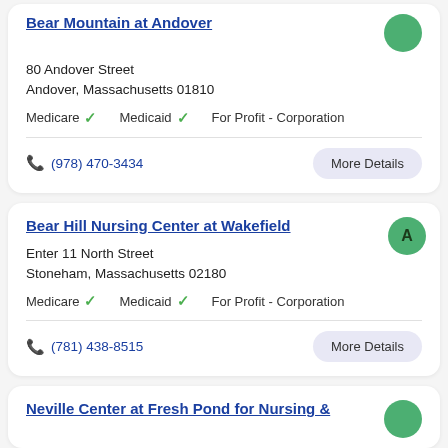Bear Mountain at Andover
80 Andover Street
Andover, Massachusetts 01810
Medicare ✓   Medicaid ✓   For Profit - Corporation
(978) 470-3434
Bear Hill Nursing Center at Wakefield
Enter 11 North Street
Stoneham, Massachusetts 02180
Medicare ✓   Medicaid ✓   For Profit - Corporation
(781) 438-8515
Neville Center at Fresh Pond for Nursing &